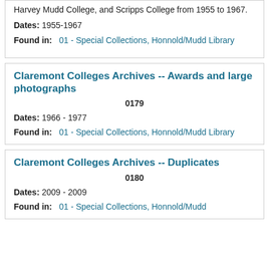Harvey Mudd College, and Scripps College from 1955 to 1967.
Dates: 1955-1967
Found in:   01 - Special Collections, Honnold/Mudd Library
Claremont Colleges Archives -- Awards and large photographs
0179
Dates: 1966 - 1977
Found in:   01 - Special Collections, Honnold/Mudd Library
Claremont Colleges Archives -- Duplicates
0180
Dates: 2009 - 2009
Found in:   01 - Special Collections, Honnold/Mudd